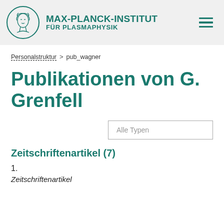MAX-PLANCK-INSTITUT FÜR PLASMAPHYSIK
Personalstruktur > pub_wagner
Publikationen von G. Grenfell
Alle Typen
Zeitschriftenartikel (7)
1.
Zeitschriftenartikel